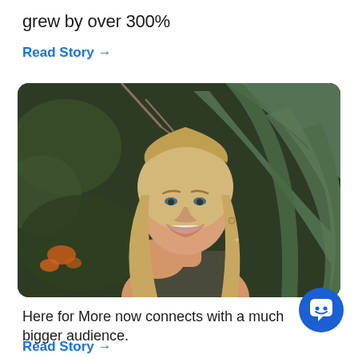grew by over 300%
Read Story →
[Figure (photo): Smiling young blonde woman outdoors with large succulent/agave leaves and flowering bushes in the background]
Here for More now connects with a much bigger audience.
Read Story →